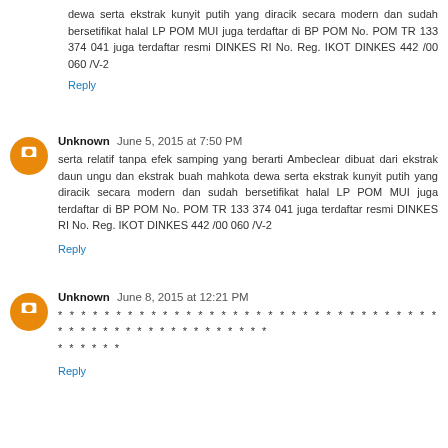dewa serta ekstrak kunyit putih yang diracik secara modern dan sudah bersetifikat halal LP POM MUI juga terdaftar di BP POM No. POM TR 133 374 041 juga terdaftar resmi DINKES RI No. Reg. IKOT DINKES 442 /00 060 /V-2
Reply
Unknown  June 5, 2015 at 7:50 PM
serta relatif tanpa efek samping yang berarti Ambeclear dibuat dari ekstrak daun ungu dan ekstrak buah mahkota dewa serta ekstrak kunyit putih yang diracik secara modern dan sudah bersetifikat halal LP POM MUI juga terdaftar di BP POM No. POM TR 133 374 041 juga terdaftar resmi DINKES RI No. Reg. IKOT DINKES 442 /00 060 /V-2
Reply
Unknown  June 8, 2015 at 12:21 PM
* * * * * * * * * * * * * * * * * * * * * * * * * * * * * * * * * * * * * * * * * * * * * * * * * * * * * *
Reply